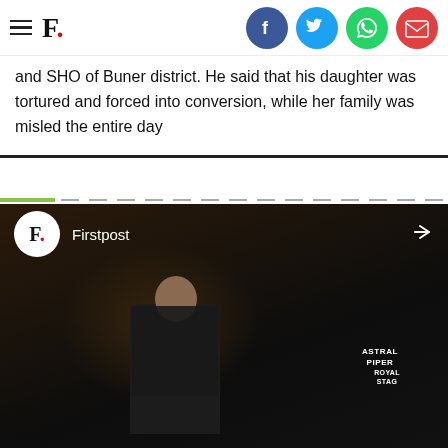F. [Firstpost logo with social icons: Facebook, Twitter, WhatsApp, Email]
and SHO of Buner district. He said that his daughter was tortured and forced into conversion, while her family was misled the entire day
[Figure (screenshot): Firstpost video player thumbnail showing a cricket player in dark jersey with ASTRAL PIPER and ROYAL STAG branding, with Firstpost logo and channel name overlay at top]
Firstpost